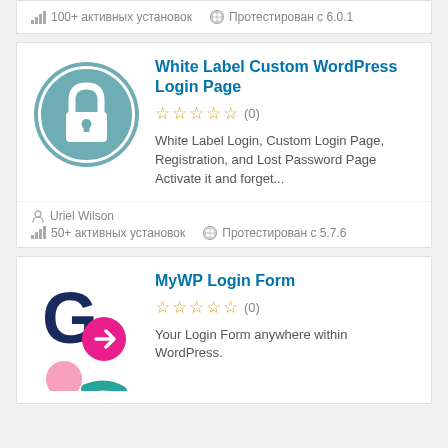100+ активных установок   Протестирован с 6.0.1
[Figure (screenshot): White Label Custom WordPress Login Page plugin card with lock icon]
White Label Custom WordPress Login Page
☆☆☆☆☆ (0)
White Label Login, Custom Login Page, Registration, and Lost Password Page Activate it and forget...
Uriel Wilson
50+ активных установок   Протестирован с 5.7.6
[Figure (screenshot): MyWP Login Form plugin card with G and arrow icons]
MyWP Login Form
☆☆☆☆☆ (0)
Your Login Form anywhere within WordPress.